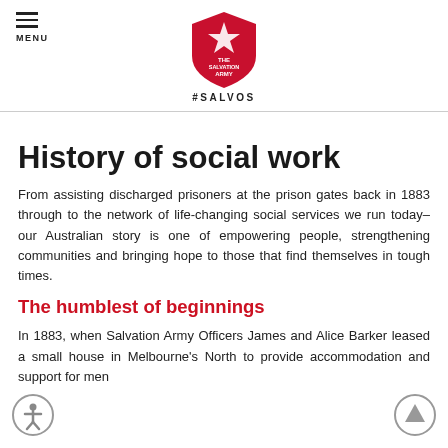MENU | THE SALVATION ARMY #SALVOS
History of social work
From assisting discharged prisoners at the prison gates back in 1883 through to the network of life-changing social services we run today–our Australian story is one of empowering people, strengthening communities and bringing hope to those that find themselves in tough times.
The humblest of beginnings
In 1883, when Salvation Army Officers James and Alice Barker leased a small house in Melbourne's North to provide accommodation and support for men